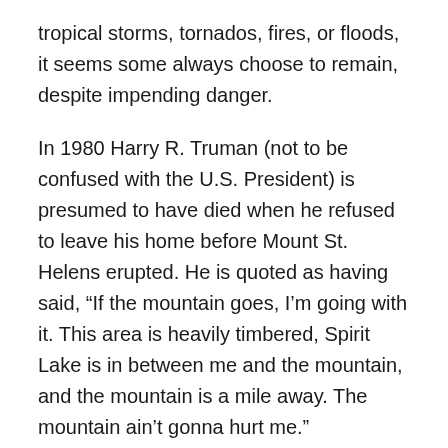tropical storms, tornados, fires, or floods, it seems some always choose to remain, despite impending danger.
In 1980 Harry R. Truman (not to be confused with the U.S. President) is presumed to have died when he refused to leave his home before Mount St. Helens erupted. He is quoted as having said, “If the mountain goes, I’m going with it. This area is heavily timbered, Spirit Lake is in between me and the mountain, and the mountain is a mile away. The mountain ain’t gonna hurt me.” Unfortunately, Truman was wrong; the mountain did hurt him.